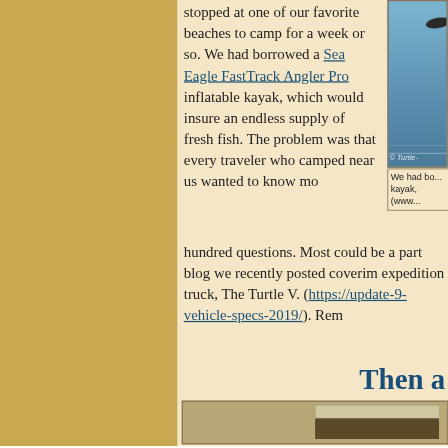stopped at one of our favorite beaches to camp for a week or so. We had borrowed a Sea Eagle FastTrack Angler Pro inflatable kayak, which would insure an endless supply of fresh fish. The problem was that every traveler who camped near us wanted to know mo... hundred questions. Most could be a... part blog we recently posted coverim... expedition truck, The Turtle V. (https://... update-9-vehicle-specs-2019/). Rem...
[Figure (photo): Photo of a kayak on water, partially visible on the right side of the page. Copyright watermark reads © Turtle...]
We had bo... kayak, (www...
Then a...
[Figure (photo): Bottom image partially visible, appears to be a vehicle or equipment photo]